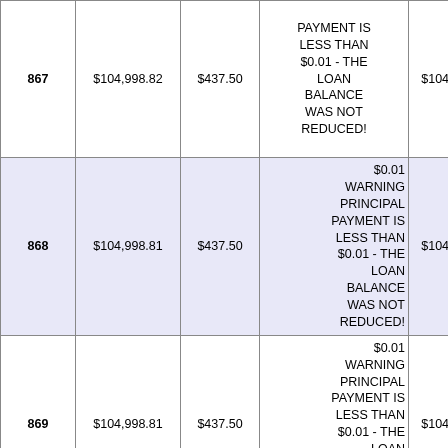|  |  |  |  |  |
| --- | --- | --- | --- | --- |
| 867 | $104,998.82 | $437.50 | PAYMENT IS LESS THAN $0.01 - THE LOAN BALANCE WAS NOT REDUCED! | $104,998.81 |
| 868 | $104,998.81 | $437.50 | $0.01 WARNING PRINCIPAL PAYMENT IS LESS THAN $0.01 - THE LOAN BALANCE WAS NOT REDUCED! | $104,998.81 |
| 869 | $104,998.81 | $437.50 | $0.01 WARNING PRINCIPAL PAYMENT IS LESS THAN $0.01 - THE LOAN BALANCE WAS NOT REDUCED! | $104,998.80 |
|  |  |  | $0.01 |  |